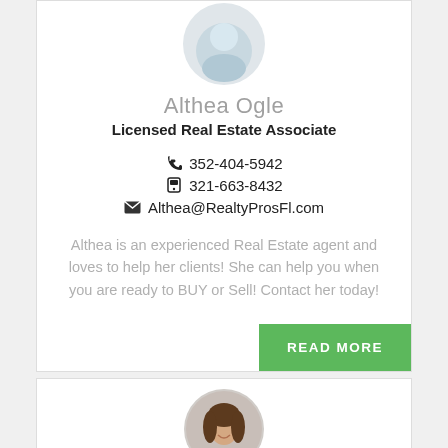[Figure (photo): Circular profile photo of Althea Ogle at top of card (partially cropped at top)]
Althea Ogle
Licensed Real Estate Associate
📞 352-404-5942
📱 321-663-8432
✉ Althea@RealtyProsFl.com
Althea is an experienced Real Estate agent and loves to help her clients! She can help you when you are ready to BUY or Sell! Contact her today!
READ MORE
[Figure (photo): Circular profile photo of a second agent (woman with brown hair, partially visible at bottom of page)]